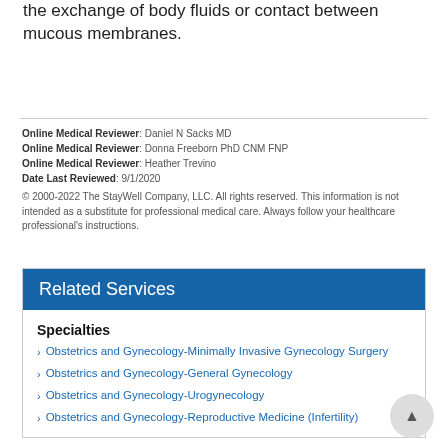the exchange of body fluids or contact between mucous membranes.
Online Medical Reviewer: Daniel N Sacks MD
Online Medical Reviewer: Donna Freeborn PhD CNM FNP
Online Medical Reviewer: Heather Trevino
Date Last Reviewed: 9/1/2020
© 2000-2022 The StayWell Company, LLC. All rights reserved. This information is not intended as a substitute for professional medical care. Always follow your healthcare professional's instructions.
Related Services
Specialties
Obstetrics and Gynecology-Minimally Invasive Gynecology Surgery
Obstetrics and Gynecology-General Gynecology
Obstetrics and Gynecology-Urogynecology
Obstetrics and Gynecology-Reproductive Medicine (Infertility)